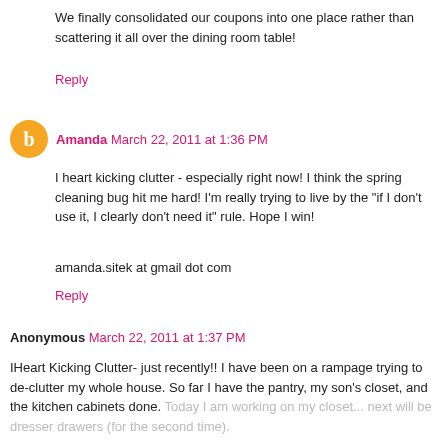We finally consolidated our coupons into one place rather than scattering it all over the dining room table!
Reply
Amanda March 22, 2011 at 1:36 PM
I heart kicking clutter - especially right now! I think the spring cleaning bug hit me hard! I'm really trying to live by the "if I don't use it, I clearly don't need it" rule. Hope I win!
amanda.sitek at gmail dot com
Reply
Anonymous March 22, 2011 at 1:37 PM
IHeart Kicking Clutter- just recently!! I have been on a rampage trying to de-clutter my whole house. So far I have the pantry, my son's closet, and the kitchen cabinets done. Today I am working on my closet... next will be dresser drawers (for the second time).